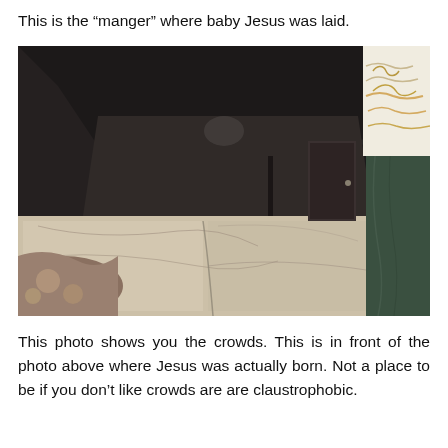This is the “manger” where baby Jesus was laid.
[Figure (photo): Interior photo of a dark stone cave/grotto with a marble floor. The ceiling and walls are rough dark rock. The floor is covered with large slabs of patterned marble. On the left side there is a decorative fabric/cushion. On the right side there is an ornate column with white lace-like decoration and gold embroidery on a green marble pillar. A dark door is visible in the background.]
This photo shows you the crowds. This is in front of the photo above where Jesus was actually born. Not a place to be if you don’t like crowds are are claustrophobic.